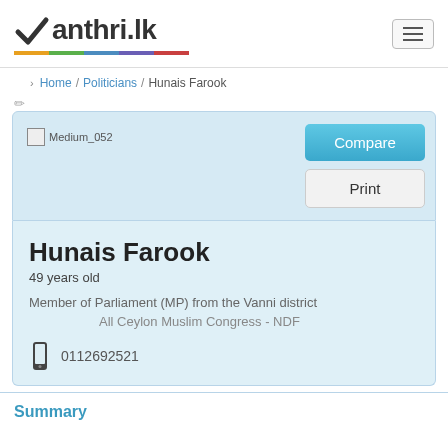Manthri.lk
Home / Politicians / Hunais Farook
[Figure (photo): Profile photo placeholder labeled Medium_052]
Compare
Print
Hunais Farook
49 years old
Member of Parliament (MP) from the Vanni district
All Ceylon Muslim Congress - NDF
0112692521
Summary